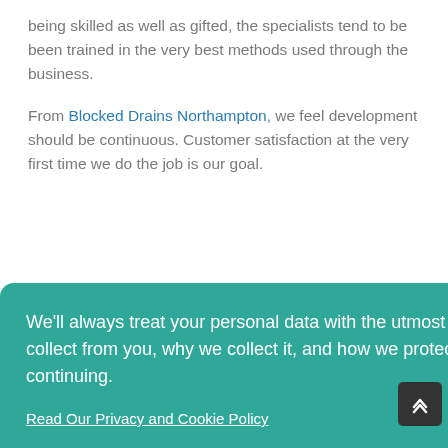being skilled as well as gifted, the specialists tend to be been trained in the very best methods used through the business.
From Blocked Drains Northampton, we feel development should be continuous. Customer satisfaction at the very first time we do the job is our goal.
We'll always treat your personal data with the utmost care, and we want you to understand what data we collect from you, why we collect it, and how we protect it. Please read our Privacy & Cookie Policy before continuing.
Read Our Privacy and Cookie Policy
Decline
Accept